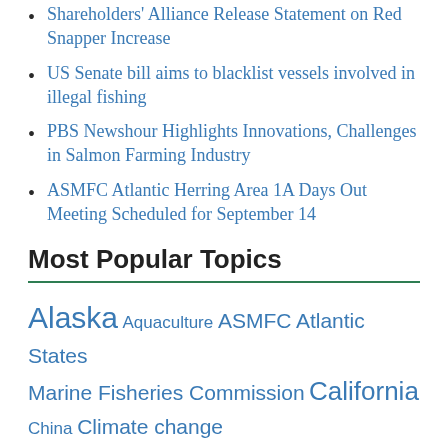Shareholders' Alliance Release Statement on Red Snapper Increase
US Senate bill aims to blacklist vessels involved in illegal fishing
PBS Newshour Highlights Innovations, Challenges in Salmon Farming Industry
ASMFC Atlantic Herring Area 1A Days Out Meeting Scheduled for September 14
Most Popular Topics
Alaska Aquaculture ASMFC Atlantic States Marine Fisheries Commission California China Climate change Coronavirus COVID-19 Donald Trump groundfish Gulf of